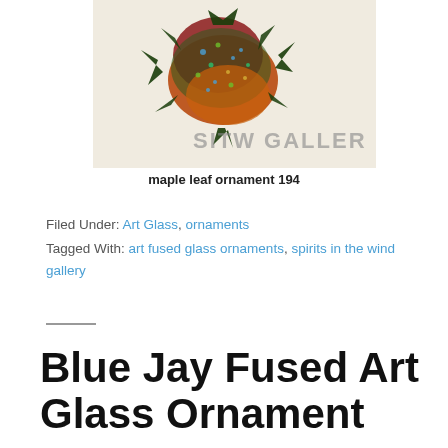[Figure (photo): A fused art glass maple leaf ornament with dark green, red, and orange colors with multicolored speckles, photographed against a light background with 'SITW GALLERY' watermark text visible.]
maple leaf ornament 194
Filed Under: Art Glass, ornaments
Tagged With: art fused glass ornaments, spirits in the wind gallery
Blue Jay Fused Art Glass Ornament